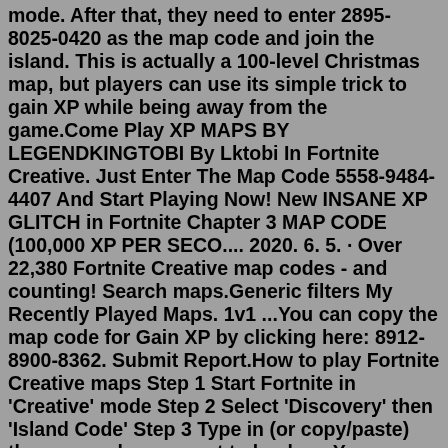mode. After that, they need to enter 2895-8025-0420 as the map code and join the island. This is actually a 100-level Christmas map, but players can use its simple trick to gain XP while being away from the game.Come Play XP MAPS BY LEGENDKINGTOBI By Lktobi In Fortnite Creative. Just Enter The Map Code 5558-9484-4407 And Start Playing Now! New INSANE XP GLITCH in Fortnite Chapter 3 MAP CODE (100,000 XP PER SECO.... 2020. 6. 5. · Over 22,380 Fortnite Creative map codes - and counting! Search maps.Generic filters My Recently Played Maps. 1v1 ...You can copy the map code for Gain XP by clicking here: 8912-8900-8362. Submit Report.How to play Fortnite Creative maps Step 1 Start Fortnite in 'Creative' mode Step 2 Select 'Discovery' then 'Island Code' Step 3 Type in (or copy/paste) the map code you want to load up. You can copy the map code for XP Island by clicking here: 8693-7298-9255 Submit Report More from Candook Mythic Weapons Great Practice No Input Delay Earn XPFeb 20, 2022 · Build: You would need to build 3